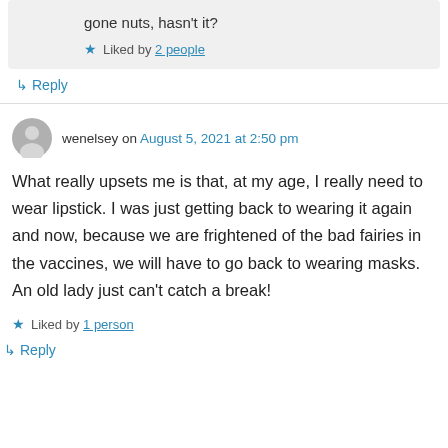gone nuts, hasn't it?
Liked by 2 people
↳ Reply
wenelsey on August 5, 2021 at 2:50 pm
What really upsets me is that, at my age, I really need to wear lipstick. I was just getting back to wearing it again and now, because we are frightened of the bad fairies in the vaccines, we will have to go back to wearing masks. An old lady just can't catch a break!
Liked by 1 person
↳ Reply